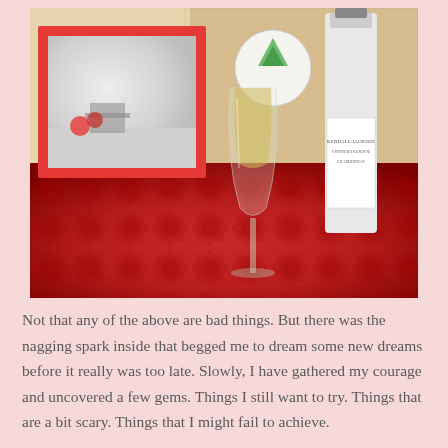[Figure (photo): A photo showing a red tablecloth/placemat with a wine glass containing white wine, a bottle of Kendall-Jackson Chardonnay, and a red-framed photo showing a snowy outdoor scene with a chair and red flowers. A decorative patterned background is visible.]
Not that any of the above are bad things. But there was the nagging spark inside that begged me to dream some new dreams before it really was too late. Slowly, I have gathered my courage and uncovered a few gems. Things I still want to try. Things that are a bit scary. Things that I might fail to achieve.